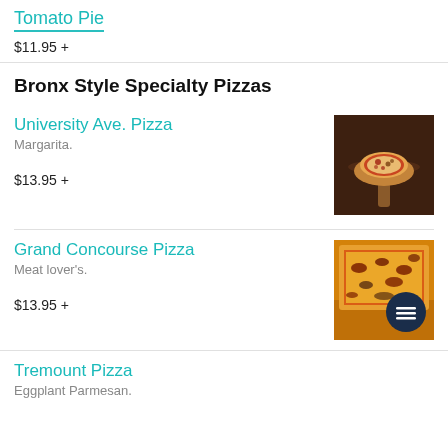Tomato Pie
$11.95 +
Bronx Style Specialty Pizzas
University Ave. Pizza
Margarita.
$13.95 +
[Figure (photo): A round pizza on a wooden paddle board on a dark wooden table]
Grand Concourse Pizza
Meat lover's.
$13.95 +
[Figure (photo): A meat lover's pizza in a box, close-up showing toppings, with a dark circular menu icon button overlay]
Tremount Pizza
Eggplant Parmesan.